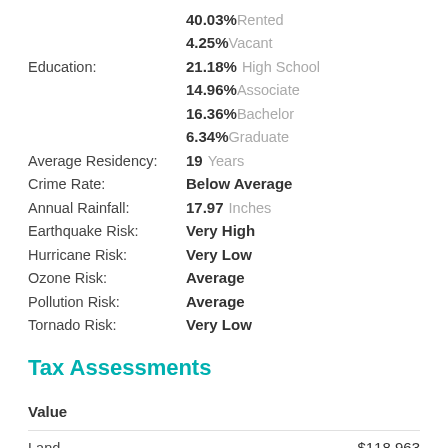40.03% Rented
4.25% Vacant
Education: 21.18% High School
14.96% Associate
16.36% Bachelor
6.34% Graduate
Average Residency: 19 Years
Crime Rate: Below Average
Annual Rainfall: 17.97 Inches
Earthquake Risk: Very High
Hurricane Risk: Very Low
Ozone Risk: Average
Pollution Risk: Average
Tornado Risk: Very Low
Tax Assessments
Value
Land   $118,963